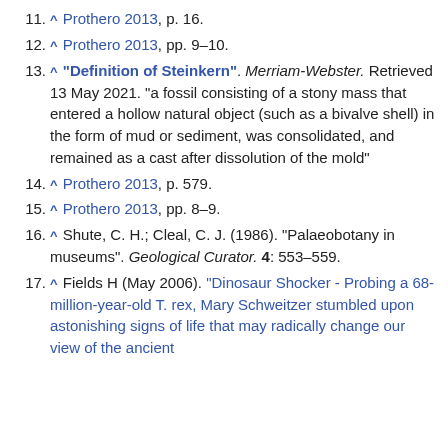11. ^ Prothero 2013, p. 16.
12. ^ Prothero 2013, pp. 9–10.
13. ^ "Definition of Steinkern". Merriam-Webster. Retrieved 13 May 2021. "a fossil consisting of a stony mass that entered a hollow natural object (such as a bivalve shell) in the form of mud or sediment, was consolidated, and remained as a cast after dissolution of the mold"
14. ^ Prothero 2013, p. 579.
15. ^ Prothero 2013, pp. 8–9.
16. ^ Shute, C. H.; Cleal, C. J. (1986). "Palaeobotany in museums". Geological Curator. 4: 553–559.
17. ^ Fields H (May 2006). "Dinosaur Shocker - Probing a 68-million-year-old T. rex, Mary Schweitzer stumbled upon astonishing signs of life that may radically change our view of the ancient